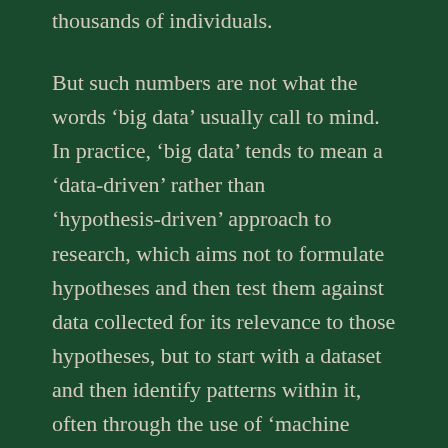thousands of individuals.
But such numbers are not what the words ‘big data’ usually call to mind. In practice, ‘big data’ tends to mean a ‘data-driven’ rather than ‘hypothesis-driven’ approach to research, which aims not to formulate hypotheses and then test them against data collected for its relevance to those hypotheses, but to start with a dataset and then identify patterns within it, often through the use of ‘machine learning’ algorithms. This is sometimes described as ‘inductive’ rather than ‘deductive’ research, which probably sounds more radical from the point of view of a scientist than from that of a humanist – although it is necessarily quantitative, and as such quite alien to much